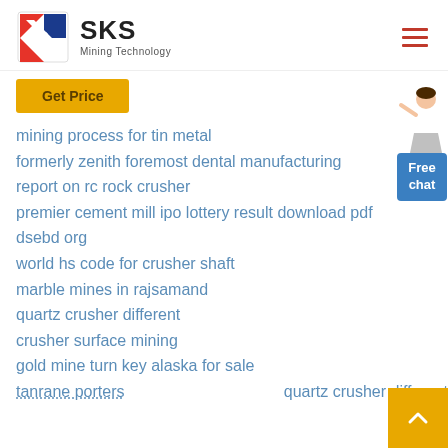SKS Mining Technology
Get Price
mining process for tin metal
formerly zenith foremost dental manufacturing
report on rc rock crusher
premier cement mill ipo lottery result download pdf dsebd org
world hs code for crusher shaft
marble mines in rajsamand
quartz crusher different
crusher surface mining
gold mine turn key alaska for sale
tanrane porters